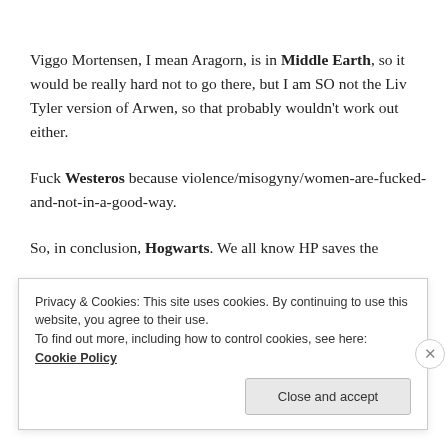Viggo Mortensen, I mean Aragorn, is in Middle Earth, so it would be really hard not to go there, but I am SO not the Liv Tyler version of Arwen, so that probably wouldn't work out either.
Fuck Westeros because violence/misogyny/women-are-fucked-and-not-in-a-good-way.
So, in conclusion, Hogwarts. We all know HP saves the
Privacy & Cookies: This site uses cookies. By continuing to use this website, you agree to their use.
To find out more, including how to control cookies, see here: Cookie Policy